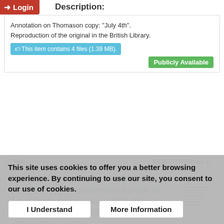Login
Description:
Annotation on Thomason copy: "July 4th".
Reproduction of the original in the British Library.
This item contains 4 files (1.39 MB).
Publicly Available
Text | EEBO-TCP (Phase 1)
The good old way, or, An excellent and profitable treatise of repentance made by John Bradford in the yeare 1553. Now published with two prefaces relating the life of the author, and the excellence of the worke.
This site uses cookies to offer you a better browsing experience. By continuing to use our site, you consent to our use of cookies.
I Understand | More Information